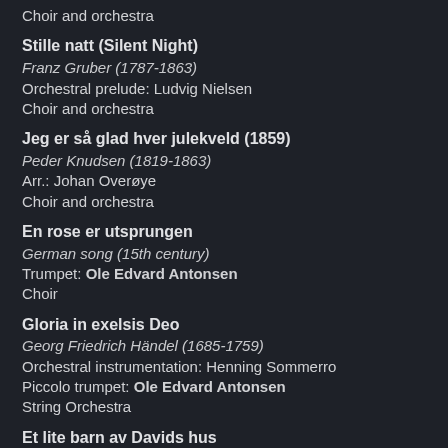Choir and orchestra
Stille natt (Silent Night)
Franz Gruber (1787-1863)
Orchestral prelude: Ludvig Nielsen
Choir and orchestra
Jeg er så glad hver julekveld (1859)
Peder Knudsen (1819-1863)
Arr.: Johan Overøye
Choir and orchestra
En rose er utsprungen
German song (15th century)
Trumpet: Ole Edvard Antonsen
Choir
Gloria in exelsis Deo
Georg Friedrich Händel (1685-1759)
Orchestral instrumentation: Henning Sommerro
Piccolo trumpet: Ole Edvard Antonsen
String Orchestra
Et lite barn av Davids hus
Egil Hovland (1924-)